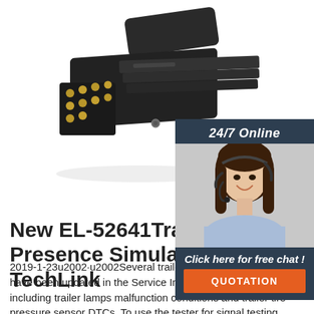[Figure (photo): Black multi-pin trailer electrical connector (EL-52641 Trailer Presence Simulator Tester) shown at an angle, with gold-colored pins visible on the front face, on a white background. A customer service representative (woman with headset, smiling) is shown in a sidebar panel on the right.]
New EL-52641Trailer Presence Simulator Tester TechLink
2019-1-23u2002·u2002Several trailer diagnostic procedures have been updated in the Service Information using the tester, including trailer lamps malfunction conditions and trailer tire pressure sensor DTCs. To use the tester for signal testing, simply plug the 7-way connector of